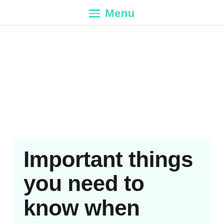Menu
Important things you need to know when